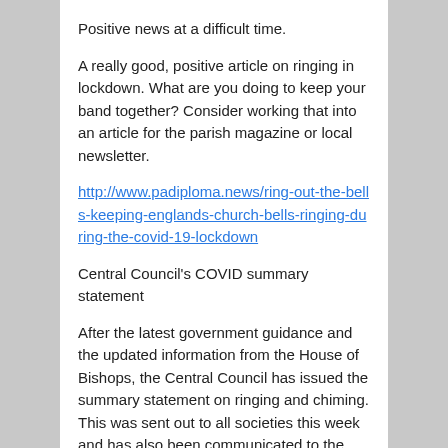Positive news at a difficult time.
A really good, positive article on ringing in lockdown. What are you doing to keep your band together? Consider working that into an article for the parish magazine or local newsletter.
http://www.padiploma.news/ring-out-the-bells-keeping-englands-church-bells-ringing-during-the-covid-19-lockdown
Central Council's COVID summary statement
After the latest government guidance and the updated information from the House of Bishops, the Central Council has issued the summary statement on ringing and chiming. This was sent out to all societies this week and has also been communicated to the diocese.
( I've put this articled into the Branch website. You can find it here: